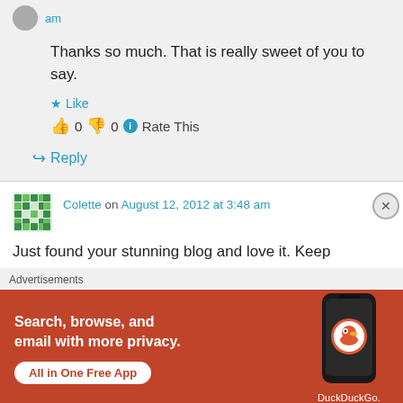am
Thanks so much. That is really sweet of you to say.
★ Like
👍 0 👎 0 ℹ Rate This
↪ Reply
Colette on August 12, 2012 at 3:48 am
Just found your stunning blog and love it. Keep
Advertisements
[Figure (screenshot): DuckDuckGo advertisement banner: orange background with text 'Search, browse, and email with more privacy. All in One Free App' and a phone showing the DuckDuckGo logo.]